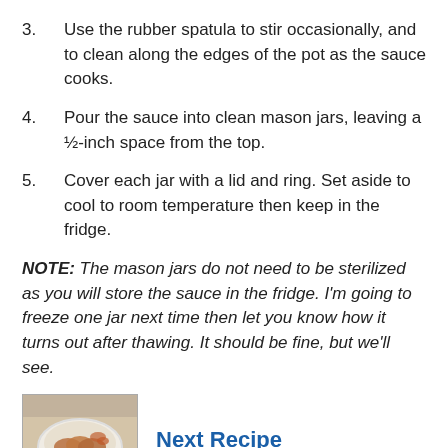3.	Use the rubber spatula to stir occasionally, and to clean along the edges of the pot as the sauce cooks.
4.	Pour the sauce into clean mason jars, leaving a ½-inch space from the top.
5.	Cover each jar with a lid and ring. Set aside to cool to room temperature then keep in the fridge.
NOTE:  The mason jars do not need to be sterilized as you will store the sauce in the fridge. I'm going to freeze one jar next time then let you know how it turns out after thawing. It should be fine, but we'll see.
[Figure (photo): Thumbnail photo of sliced roasted meat on a white plate]
Next Recipe
[Figure (photo): Thumbnail photo of a colorful dish, partially visible at bottom of page]